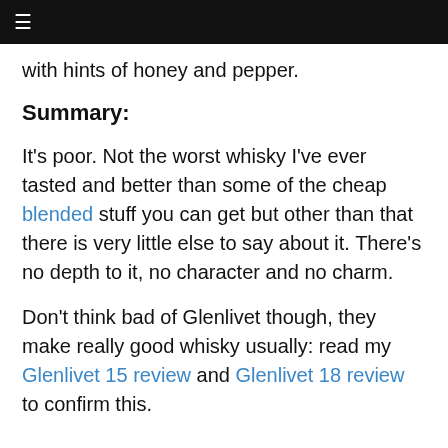≡
with hints of honey and pepper.
Summary:
It's poor. Not the worst whisky I've ever tasted and better than some of the cheap blended stuff you can get but other than that there is very little else to say about it. There's no depth to it, no character and no charm.
Don't think bad of Glenlivet though, they make really good whisky usually: read my Glenlivet 15 review and Glenlivet 18 review to confirm this.